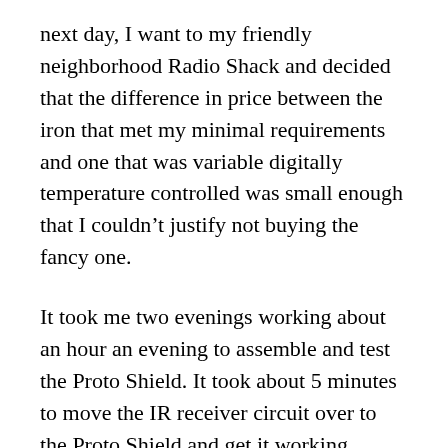next day, I want to my friendly neighborhood Radio Shack and decided that the difference in price between the iron that met my minimal requirements and one that was variable digitally temperature controlled was small enough that I couldn't justify not buying the fancy one.
It took me two evenings working about an hour an evening to assemble and test the Proto Shield. It took about 5 minutes to move the IR receiver circuit over to the Proto Shield and get it working.
Stay tuned. More mania is on the way.